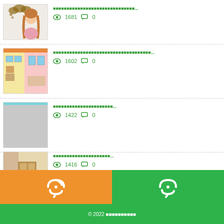1681 views, 0 comments
1602 views, 0 comments
1422 views, 0 comments
1416 views, 0 comments
© 2022